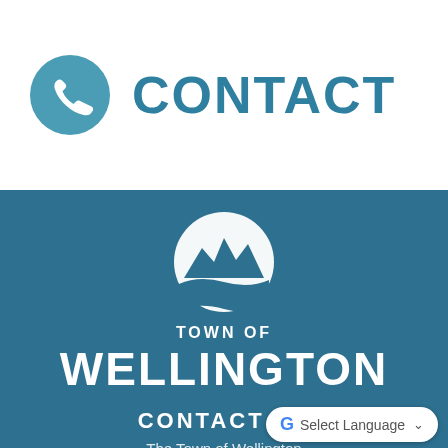[Figure (logo): Phone handset icon in a teal circular background]
CONTACT
[Figure (logo): Town of Wellington logo: white mountain and rolling fields in a circle on a teal background, with text TOWN OF WELLINGTON below]
CONTACT US
The Town of Wellington
[Figure (other): Google Translate Select Language widget]